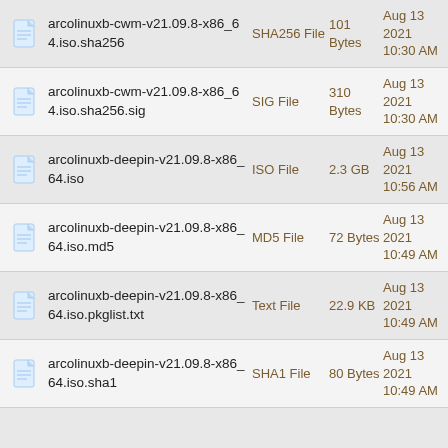arcolinuxb-cwm-v21.09.8-x86_64.iso.sha256 | SHA256 File | 101 Bytes | Aug 13 2021 10:30 AM
arcolinuxb-cwm-v21.09.8-x86_64.iso.sha256.sig | SIG File | 310 Bytes | Aug 13 2021 10:30 AM
arcolinuxb-deepin-v21.09.8-x86_64.iso | ISO File | 2.3 GB | Aug 13 2021 10:56 AM
arcolinuxb-deepin-v21.09.8-x86_64.iso.md5 | MD5 File | 72 Bytes | Aug 13 2021 10:49 AM
arcolinuxb-deepin-v21.09.8-x86_64.iso.pkglist.txt | Text File | 22.9 KB | Aug 13 2021 10:49 AM
arcolinuxb-deepin-v21.09.8-x86_64.iso.sha1 | SHA1 File | 80 Bytes | Aug 13 2021 10:49 AM